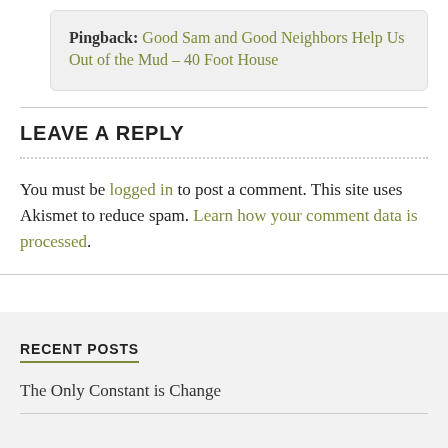Pingback: Good Sam and Good Neighbors Help Us Out of the Mud – 40 Foot House
LEAVE A REPLY
You must be logged in to post a comment. This site uses Akismet to reduce spam. Learn how your comment data is processed.
RECENT POSTS
The Only Constant is Change